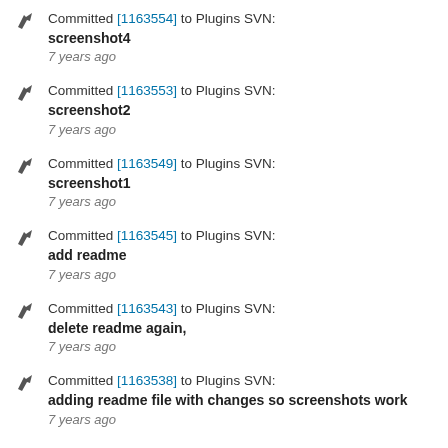Committed [1163554] to Plugins SVN: screenshot4 — 7 years ago
Committed [1163553] to Plugins SVN: screenshot2 — 7 years ago
Committed [1163549] to Plugins SVN: screenshot1 — 7 years ago
Committed [1163545] to Plugins SVN: add readme — 7 years ago
Committed [1163543] to Plugins SVN: delete readme again, — 7 years ago
Committed [1163538] to Plugins SVN: adding readme file with changes so screenshots work — 7 years ago